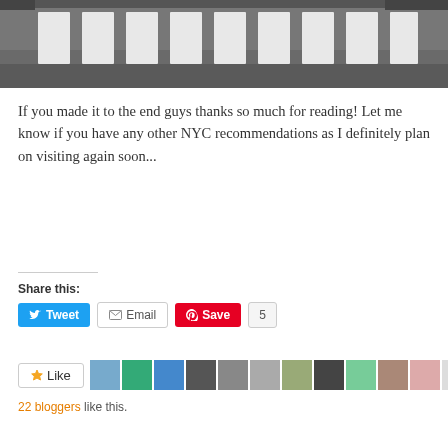[Figure (photo): A street-level view of a pedestrian crosswalk with white stripes on dark asphalt, photographed from a low angle.]
If you made it to the end guys thanks so much for reading! Let me know if you have any other NYC recommendations as I definitely plan on visiting again soon...
Share this:
Tweet  Email  Save  5
Like
22 bloggers like this.